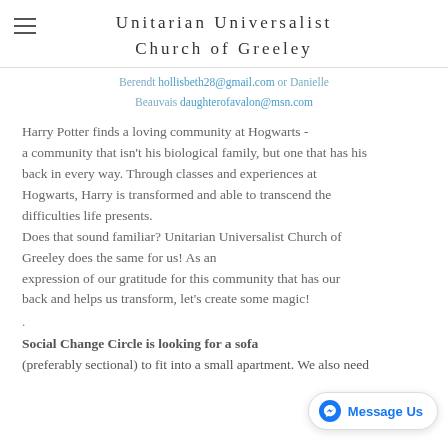Unitarian Universalist Church of Greeley
Berendt hollisbeth28@gmail.com or Danielle Beauvais daughterofavalon@msn.com
Harry Potter finds a loving community at Hogwarts - a community that isn't his biological family, but one that has his back in every way. Through classes and experiences at Hogwarts, Harry is transformed and able to transcend the difficulties life presents.
Does that sound familiar? Unitarian Universalist Church of Greeley does the same for us! As an expression of our gratitude for this community that has our back and helps us transform, let's create some magic!
.
Social Change Circle is looking for a sofa (preferably sectional) to fit into a small apartment. We also need